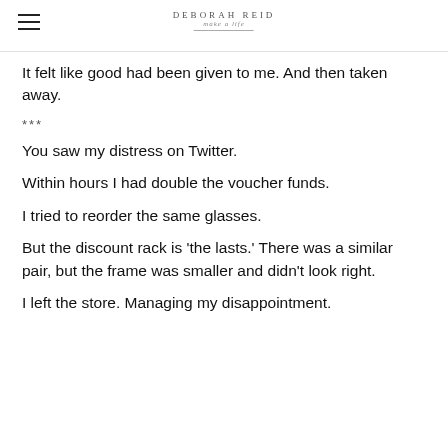DEBORAH REID
It felt like good had been given to me. And then taken away.
***
You saw my distress on Twitter.
Within hours I had double the voucher funds.
I tried to reorder the same glasses.
But the discount rack is 'the lasts.' There was a similar pair, but the frame was smaller and didn't look right.
I left the store. Managing my disappointment.